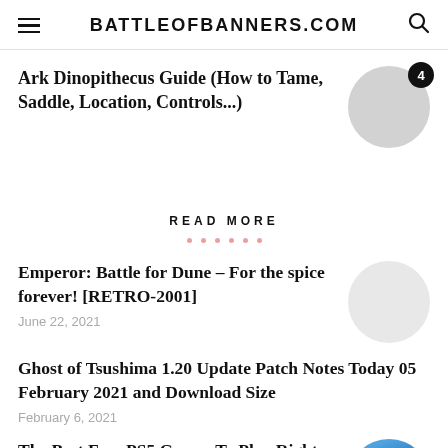BATTLEOFBANNERS.COM
Ark Dinopithecus Guide (How to Tame, Saddle, Location, Controls...)
READ MORE
Emperor: Battle for Dune – For the spice forever! [RETRO-2001]
June 22, 2021
Ghost of Tsushima 1.20 Update Patch Notes Today 05 February 2021 and Download Size
February 6, 2021
The Best Free PS5 Games To Play Right